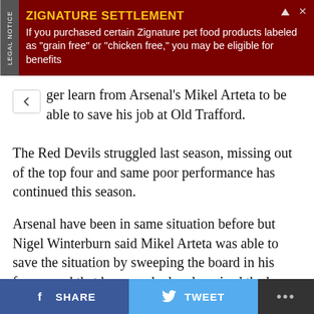[Figure (infographic): Advertisement banner for Zignature Settlement. Dark red background with yellow title 'ZIGNATURE SETTLEMENT' and white body text: 'If you purchased certain Zignature pet food products labeled as "grain free" or "chicken free," you may be eligible for benefits'. Left side has vertical 'LEGAL NOTICE' label.]
ger learn from Arsenal's Mikel Arteta to be able to save his job at Old Trafford.
The Red Devils struggled last season, missing out of the top four and same poor performance has continued this season.
Arsenal have been in same situation before but Nigel Winterburn said Mikel Arteta was able to save the situation by sweeping the board in his favour and that happened when he raised the bar for the team and won the FA Cup.
Speaking to Paddy Power, Nigel Winterburn said: “Erik
[Figure (infographic): Social share bar at bottom with Facebook SHARE button (blue), Twitter TWEET button (light blue), and a dark more options (...) button.]